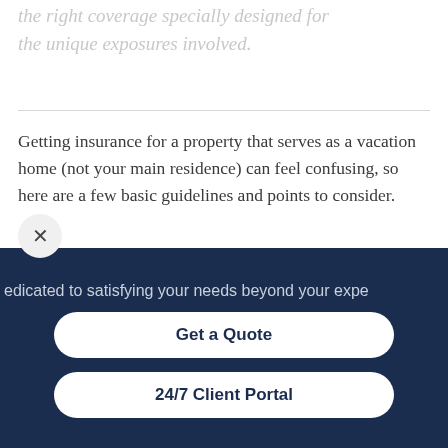the right coverage specially designed for the unique exposures involved.
Getting insurance for a property that serves as a vacation home (not your main residence) can feel confusing, so here are a few basic guidelines and points to consider.
The precise definition of a seasonal and secondary home can vary from insurer to
edicated to satisfying your needs beyond your expe
Get a Quote
24/7 Client Portal